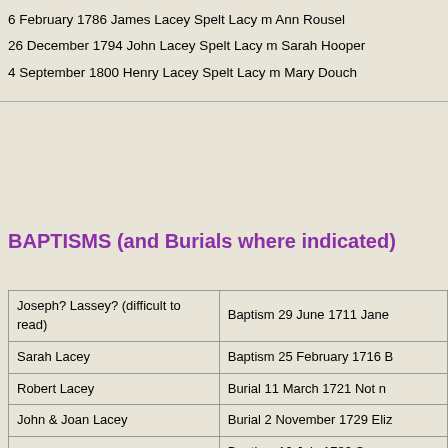| 6 February 1786 James Lacey Spelt Lacy m Ann Rousel |
| 26 December 1794 John Lacey Spelt Lacy m Sarah Hooper |
| 4 September 1800 Henry Lacey Spelt Lacy m Mary Douch |
BAPTISMS (and Burials where indicated)
| Joseph? Lassey? (difficult to read) | Baptism 29 June 1711 Jane |
| Sarah Lacey | Baptism 25 February 1716 B |
| Robert Lacey | Burial  11 March 1721 Not n |
| John & Joan Lacey | Burial 2 November 1729 Eliz |
| Robert & Elizabeth (nee Brook) Lacey | Baptism  10 July 1732 Samu
Baptism  23 May 1734 Mary |
| Eliz. Lacy | Baptism 25 February 1738 N |
| Joseph & Barbara Lacey | Baptism 7 January 1740 Jos
Baptism 31 May 1725 Jame |
|  | Baptism  12 September 175 |